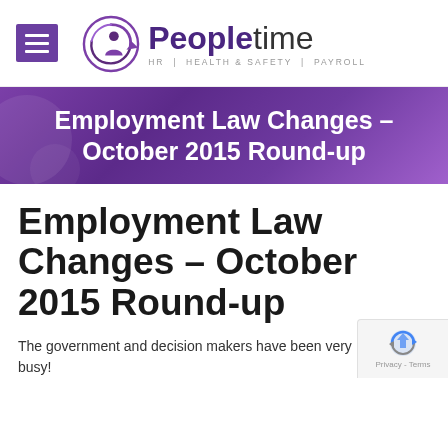[Figure (logo): Peopletime logo with HR | Health & Safety | Payroll tagline and a circular icon with a person figure]
Employment Law Changes – October 2015 Round-up
Employment Law Changes – October 2015 Round-up
The government and decision makers have been very busy!